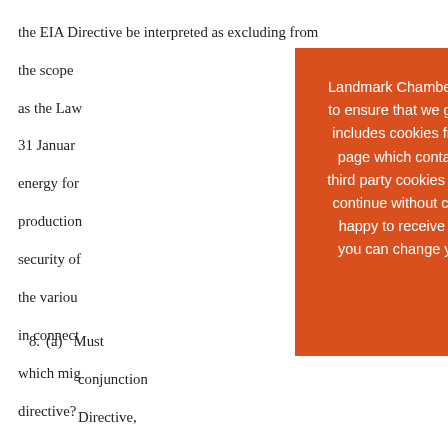the EIA Directive be interpreted as excluding from the scope as the Law ... 31 January ... energy for ... production ... security of ... the various ... in connection ... which might ... directive?
8. (a) Must ... conjunction ... Directive, ... the EIA Di ... Convention ... postponement ... the end of ... of a nuclear ... instance, significant investments and security
Landmark Chambers has updated its cookie policy. We use cookies to ensure that we give you the best experience on our website. This includes cookies from third party social media website if you visit a page which contains embedded content from social media. Such third party cookies may track your use of Landmark's website. If you continue without changing your settings, we'll assume that you are happy to receive all cookies on the Landmark website. However, you can change your cookie settings at any time. Find out more